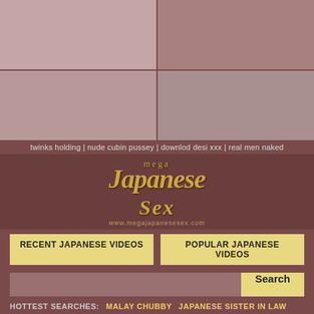[Figure (screenshot): Four-panel grid of adult content thumbnail images]
twinks holding | nude cubin pussey | downlod desi xxx | real men naked
[Figure (logo): mega Japanese Sex logo in gold italic script with website URL]
RECENT JAPANESE VIDEOS
POPULAR JAPANESE VIDEOS
Search
HOTTEST SEARCHES: MALAY CHUBBY JAPANESE SISTER IN LAW
[Figure (infographic): Ad overlay with avatar showing LIVE badge, notification badge '1', pink gradient box with ADS label, name Jeniffer 2000, time (00:12)]
ADS Jeniffer 2000 (00:12)🔔